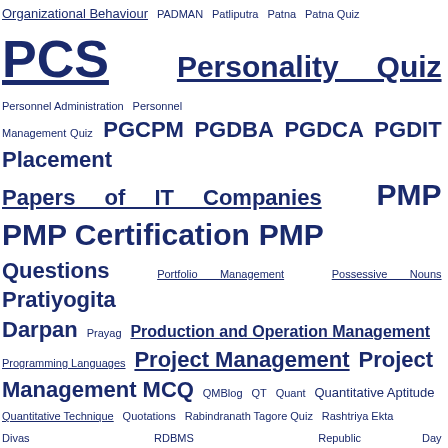Tag cloud of education and quiz topics including: Organizational Behaviour, PADMAN, Patliputra, Patna, Patna Quiz, PCS, Personality Quiz, Personnel Administration, Personnel Management Quiz, PGCPM, PGDBA, PGDCA, PGDIT, Placement Papers of IT Companies, PMP, PMP Certification, PMP Questions, Portfolio Management, Possessive Nouns, Pratiyogita Darpan, Prayag, Production and Operation Management, Programming Languages, Project Management, Project Management MCQ, QMBlog, QT, Quant, Quantitative Aptitude, Quantitative Technique, Quotations, Rabindranath Tagore Quiz, Rashtriya Ekta Divas, RDBMS, Republic Day, Samanya Gyan, Sangam, Santa Claus, SAP HANA, SAT, Satyamev Jayate, Science, Security Analysis, September 2012, September 2012 GK, Shree Mahakaleshwar Temple, Shree Siddhivinayak Ganapati Temple, Shree Somnath Temple, Siddhartha, SNAP, Software Testing, Spellings, Sports, SportsPersons, Sri Ramanathaswamy Temple, StatesOfIndia, Static GK, Strategic Finance, Strategic Management, Strategy, Strategy True False, SundayFun, Swami Vivekanand, Swami Vivekananda Quiz, Synonyms, Systems Quiz, Taiwan National Day, Tata Crucible, Teasers, Teej, Temples, Temples of India, Time and Calendar, TOEFL, Trimbakeshwar Jyotirlinga Temple, Tripura, TV